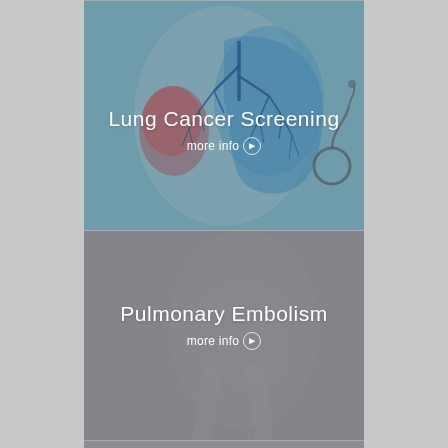[Figure (illustration): Medical illustration panel showing a blue-tinted transparent human torso/lungs anatomy image with bronchial tree visible, with a stethoscope visible on the right side. Panel contains 'Lung Cancer Screening' title and 'more info' link overlay.]
Lung Cancer Screening
more info >
[Figure (illustration): Grey-toned medical illustration panel showing a faded anatomical figure background. Panel contains 'Pulmonary Embolism' title and 'more info' link overlay.]
Pulmonary Embolism
more info >
[Figure (illustration): Grey-toned partial panel at the bottom, showing lower portion of a medical illustration background.]